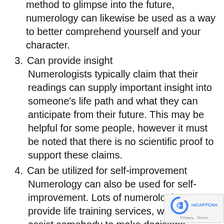method to glimpse into the future, numerology can likewise be used as a way to better comprehend yourself and your character.
3. Can provide insight
Numerologists typically claim that their readings can supply important insight into someone’s life path and what they can anticipate from their future. This may be helpful for some people, however it must be noted that there is no scientific proof to support these claims.
4. Can be utilized for self-improvement
Numerology can also be used for self-improvement. Lots of numerologists provide life training services, which can assist somebody to make decisions